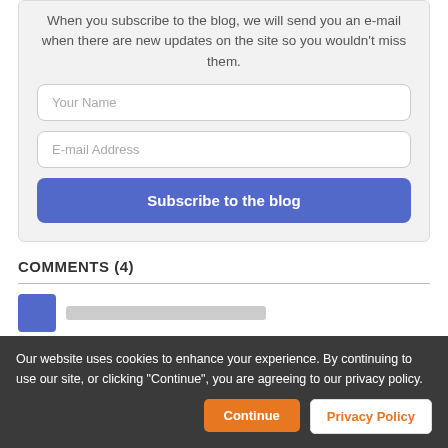When you subscribe to the blog, we will send you an e-mail when there are new updates on the site so you wouldn't miss them.
Your Name
E-mail Address
Subscribe to the blog
COMMENTS (4)
Our website uses cookies to enhance your experience. By continuing to use our site, or clicking "Continue", you are agreeing to our privacy policy.
Continue
Privacy Policy